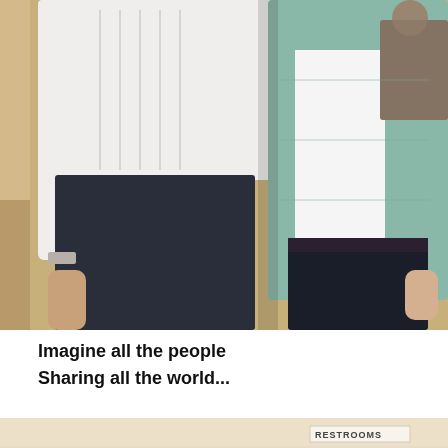[Figure (photo): Two people standing side by side from neck to knees. Left person wears a white cable-knit sweater and dark navy trousers. Right person wears a light teal/mint quilted jacket over a white top and dark trousers. Background shows an indoor setting with warm beige walls.]
Imagine all the people
Sharing all the world...
[Figure (photo): Partial view of an indoor space with a beige wall and a sign visible reading RESTROOMS.]